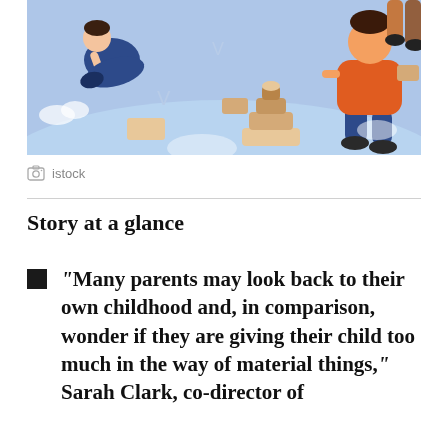[Figure (illustration): Flat illustration of children playing with toy blocks and a toy airplane on a light blue background. One child in orange shirt stacks blocks, another child sits with a blue toy plane. Colorful wooden blocks scattered around.]
istock
Story at a glance
“Many parents may look back to their own childhood and, in comparison, wonder if they are giving their child too much in the way of material things,” Sarah Clark, co-director of